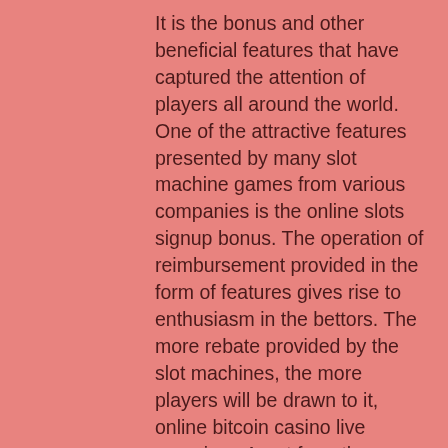It is the bonus and other beneficial features that have captured the attention of players all around the world. One of the attractive features presented by many slot machine games from various companies is the online slots signup bonus. The operation of reimbursement provided in the form of features gives rise to enthusiasm in the bettors. The more rebate provided by the slot machines, the more players will be drawn to it, online bitcoin casino live croupiers. Apart from the amount, other restitutions such as free spins, friendly terms and conditions are some of the plus points that many players tend to seek in a slot machine game. Join intriguing online casino tournaments and strive for the slots jackpot with online slots promotions, online bitcoin casino live croupiers. The new discount codes are constantly updated on Couponxoo, au casino de paris. Crypto gambling websites